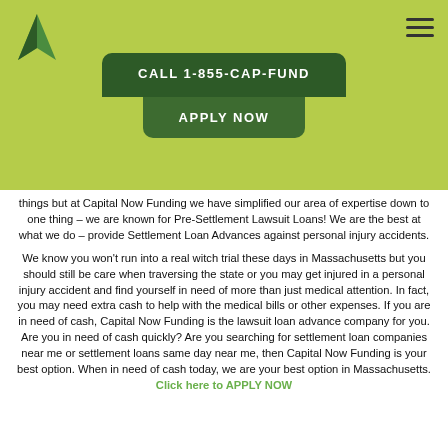[Figure (logo): Capital Now Funding arrow/triangle logo in green]
CALL 1-855-CAP-FUND
APPLY NOW
things but at Capital Now Funding we have simplified our area of expertise down to one thing – we are known for Pre-Settlement Lawsuit Loans!  We are the best at what we do – provide Settlement Loan Advances against personal injury accidents.
We know you won't run into a real witch trial these days in Massachusetts but you should still be care when traversing the state or you may get injured in a personal injury accident and find yourself in need of more than just medical attention.  In fact, you may need extra cash to help with the medical bills or other expenses.  If you are in need of cash, Capital Now Funding is the lawsuit loan advance company for you.  Are you in need of cash quickly?  Are you searching for settlement loan companies near me or settlement loans same day near me, then Capital Now Funding is your best option.  When in need of cash today, we are your best option in Massachusetts.  Click here to APPLY NOW